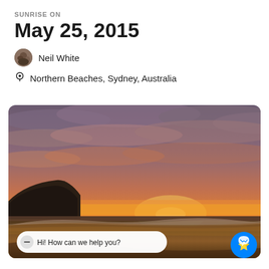SUNRISE ON
May 25, 2015
Neil White
Northern Beaches, Sydney, Australia
[Figure (photo): Panoramic beach sunrise photo at Northern Beaches, Sydney, Australia. Sky filled with dramatic orange, red, and purple clouds. Sandy beach in foreground with ocean waves. A rocky headland is visible on the left horizon.]
Hi! How can we help you?